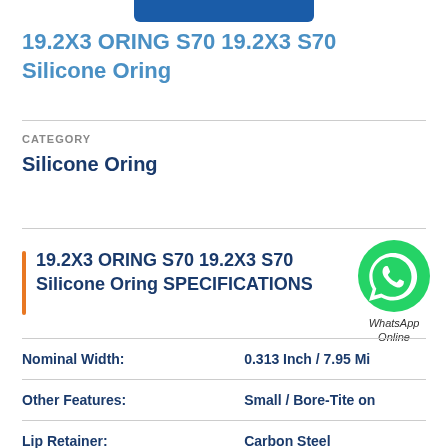19.2X3 ORING S70 19.2X3 S70 Silicone Oring
CATEGORY
Silicone Oring
19.2X3 ORING S70 19.2X3 S70 Silicone Oring SPECIFICATIONS
[Figure (logo): WhatsApp green circle icon with phone handset, labeled WhatsApp Online]
| Property | Value |
| --- | --- |
| Nominal Width: | 0.313 Inch / 7.95 Mi |
| Other Features: | Small / Bore-Tite on |
| Lip Retainer: | Carbon Steel |